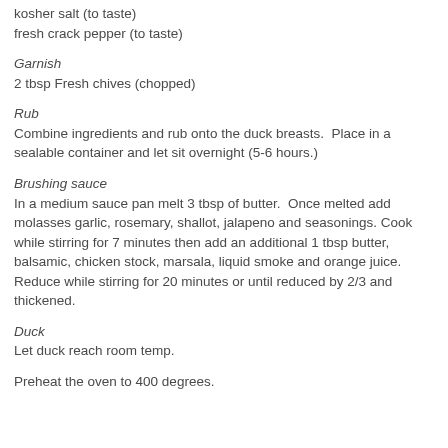kosher salt (to taste)
fresh crack pepper (to taste)
Garnish
2 tbsp Fresh chives (chopped)
Rub
Combine ingredients and rub onto the duck breasts.  Place in a sealable container and let sit overnight (5-6 hours.)
Brushing sauce
In a medium sauce pan melt 3 tbsp of butter.  Once melted add molasses garlic, rosemary, shallot, jalapeno and seasonings. Cook while stirring for 7 minutes then add an additional 1 tbsp butter, balsamic, chicken stock, marsala, liquid smoke and orange juice. Reduce while stirring for 20 minutes or until reduced by 2/3 and thickened.
Duck
Let duck reach room temp.
Preheat the oven to 400 degrees.